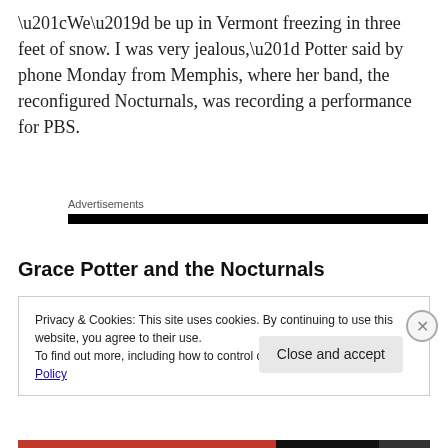“We’d be up in Vermont freezing in three feet of snow. I was very jealous,” Potter said by phone Monday from Memphis, where her band, the reconfigured Nocturnals, was recording a performance for PBS.
Advertisements
Grace Potter and the Nocturnals
Privacy & Cookies: This site uses cookies. By continuing to use this website, you agree to their use.
To find out more, including how to control cookies, see here: Cookie Policy